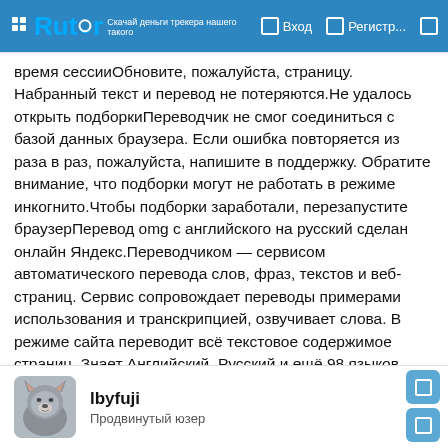Rutor — Вход — Регистр...
время сессииОбновите, пожалуйста, страницу. Набранный текст и перевод не потеряются.Не удалось открыть подборкиПереводчик не смог соединиться с базой данных браузера. Если ошибка повторяется из раза в раз, пожалуйста, напишите в поддержку. Обратите внимание, что подборки могут не работать в режиме инкогнито.Чтобы подборки заработали, перезапустите браузерПеревод omg с английского на русский сделан онлайн Яндекс.Переводчиком — сервисом автоматического перевода слов, фраз, текстов и веб-страниц. Сервис сопровождает переводы примерами использования и транскрипцией, озвучивает слова. В режиме сайта переводит всё текстовое содержимое страниц. Знает Английский, Русский и ещё 98 языков.
lbyfuji
Продвинутый юзер